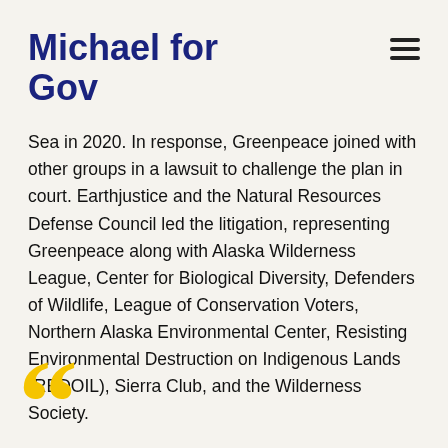Michael for Gov
Sea in 2020. In response, Greenpeace joined with other groups in a lawsuit to challenge the plan in court. Earthjustice and the Natural Resources Defense Council led the litigation, representing Greenpeace along with Alaska Wilderness League, Center for Biological Diversity, Defenders of Wildlife, League of Conservation Voters, Northern Alaska Environmental Center, Resisting Environmental Destruction on Indigenous Lands (REDOIL), Sierra Club, and the Wilderness Society.
[Figure (illustration): Large golden/yellow decorative quotation mark in the bottom-left corner]